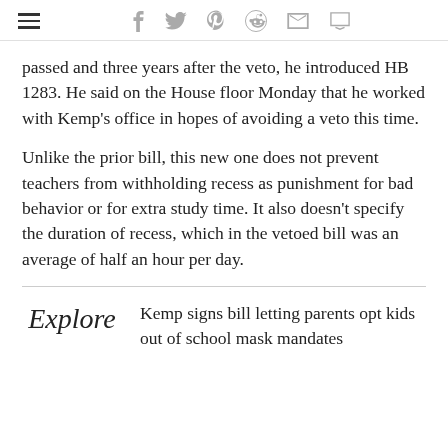☰  f  𝕏   pinterest  reddit  ✉  ○
passed and three years after the veto, he introduced HB 1283. He said on the House floor Monday that he worked with Kemp's office in hopes of avoiding a veto this time.
Unlike the prior bill, this new one does not prevent teachers from withholding recess as punishment for bad behavior or for extra study time. It also doesn't specify the duration of recess, which in the vetoed bill was an average of half an hour per day.
Explore  Kemp signs bill letting parents opt kids out of school mask mandates